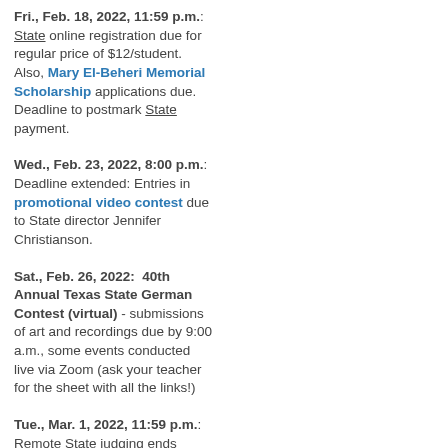Fri., Feb. 18, 2022, 11:59 p.m.: State online registration due for regular price of $12/student. Also, Mary El-Beheri Memorial Scholarship applications due. Deadline to postmark State payment.
Wed., Feb. 23, 2022, 8:00 p.m.: Deadline extended: Entries in promotional video contest due to State director Jennifer Christianson.
Sat., Feb. 26, 2022: 40th Annual Texas State German Contest (virtual) - submissions of art and recordings due by 9:00 a.m., some events conducted live via Zoom (ask your teacher for the sheet with all the links!)
Tue., Mar. 1, 2022, 11:59 p.m.: Remote State judging ends